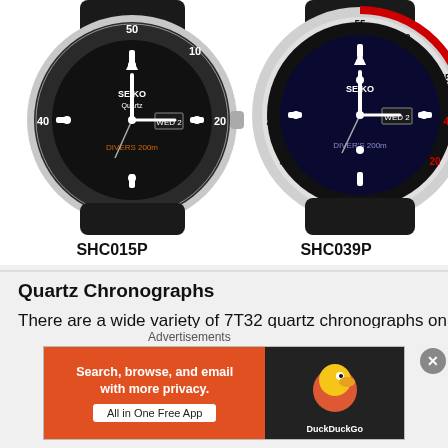[Figure (photo): Two Seiko diver watches side by side. Left watch labeled SHC015P, right watch labeled SHC039P. Both have black dials and rubber straps. The right watch has a silver and red bezel.]
SHC015P    SHC039P
Quartz Chronographs
There are a wide variety of 7T32 quartz chronographs on the catalog and I believe these are the most sellable ones
Advertisements
[Figure (screenshot): DuckDuckGo advertisement banner. Orange left panel reads 'Search, browse, and email with more privacy. All in One Free App'. Dark right panel shows DuckDuckGo logo.]